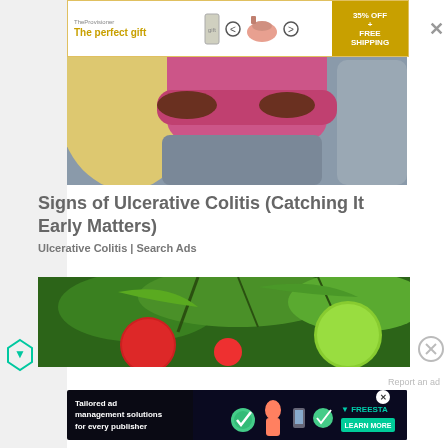[Figure (photo): Advertisement banner at top: 'The perfect gift' with gold text, product images of canister and food bowl, navigation arrows, and '35% OFF + FREE SHIPPING' promo badge in gold]
[Figure (photo): Person in pink shirt sitting on a gray couch with arms folded, cropped view showing torso and legs]
Signs of Ulcerative Colitis (Catching It Early Matters)
Ulcerative Colitis | Search Ads
[Figure (photo): Close-up photo of tomatoes on the vine, showing red and green tomatoes with green stems and leaves]
[Figure (screenshot): Bottom advertisement: 'Tailored ad management solutions for every publisher' on dark background with Freesta brand logo and 'LEARN MORE' button in teal]